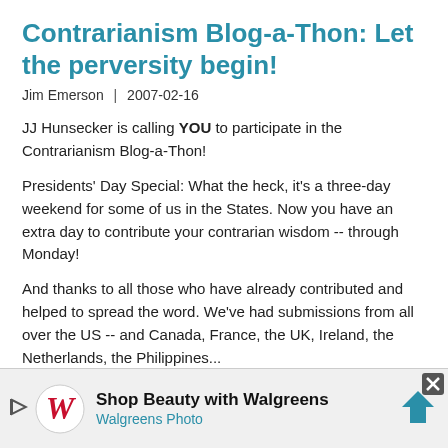Contrarianism Blog-a-Thon: Let the perversity begin!
Jim Emerson  |  2007-02-16
JJ Hunsecker is calling YOU to participate in the Contrarianism Blog-a-Thon!
Presidents' Day Special: What the heck, it's a three-day weekend for some of us in the States. Now you have an extra day to contribute your contrarian wisdom -- through Monday!
And thanks to all those who have already contributed and helped to spread the word. We've had submissions from all over the US -- and Canada, France, the UK, Ireland, the Netherlands, the Philippines...
>
This weekend we're saying to hell with the conventional
[Figure (other): Walgreens advertisement banner: 'Shop Beauty with Walgreens' with Walgreens Photo logo, navigation arrow icon, and close button]